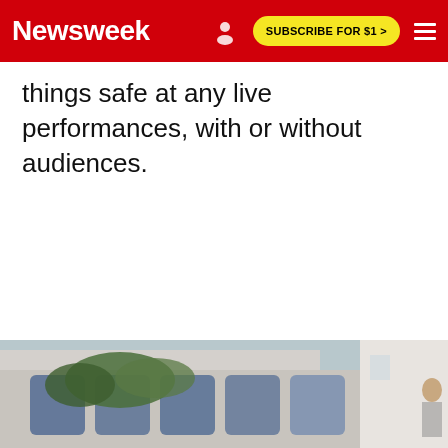Newsweek | SUBSCRIBE FOR $1 >
things safe at any live performances, with or without audiences.
[Figure (photo): Street-level photo showing graffiti-covered wall with partial large letters visible, greenery in foreground, and a person partially visible on the right edge.]